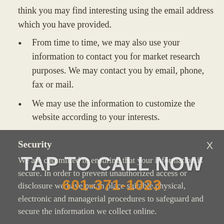think you may find interesting using the email address which you have provided.
From time to time, we may also use your information to contact you for market research purposes. We may contact you by email, phone, fax or mail.
We may use the information to customize the website according to your interests.
We may provide your information to our third party partners for marketing or promotional purposes.
We will never sell your information.
Security
We are committed to ensuring that your information is secure. In order to prevent unauthorized access or disclosure we have put in place suitable physical, electronic and managerial procedures to safeguard and secure the information we collect online.
TAP TO CALL NOW
601-371-1023